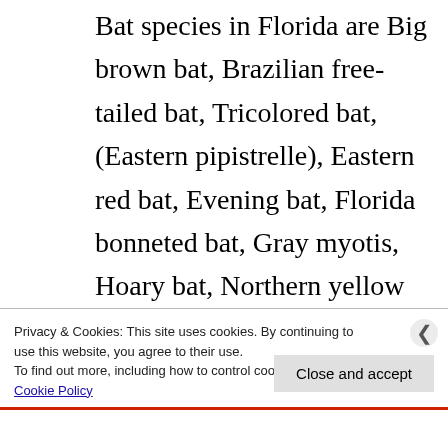Bat species in Florida are Big brown bat, Brazilian free-tailed bat, Tricolored bat, (Eastern pipistrelle), Eastern red bat, Evening bat, Florida bonneted bat, Gray myotis, Hoary bat, Northern yellow bat, Rafinesque's big-eared bat, Seminole bat, Southeastern myotis, Velvety free-tailed bat. Our Areas are Jacksonville
Privacy & Cookies: This site uses cookies. By continuing to use this website, you agree to their use. To find out more, including how to control cookies, see here: Cookie Policy
Close and accept